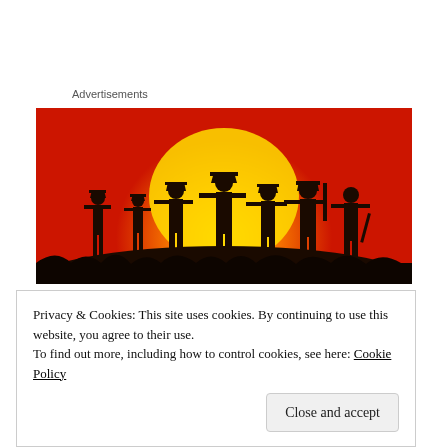Advertisements
[Figure (illustration): Red Dead Redemption 2 style artwork showing silhouettes of seven characters (cowboys/outlaws) standing on a hill against a vivid red and orange sunset with a large sun behind them and dark foreground vegetation.]
Privacy & Cookies: This site uses cookies. By continuing to use this website, you agree to their use.
To find out more, including how to control cookies, see here: Cookie Policy
Close and accept